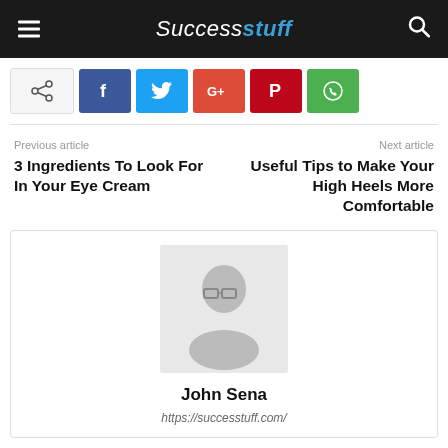Successtuff
[Figure (other): Social share buttons: share, Facebook, Twitter, Google+, Pinterest, WhatsApp]
Previous article
3 Ingredients To Look For In Your Eye Cream
Next article
Useful Tips to Make Your High Heels More Comfortable
[Figure (photo): Author profile photo of John Sena - grayscale portrait with glasses]
John Sena
https://successtuff.com/